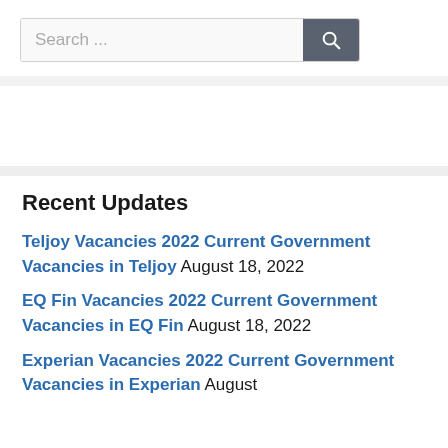[Figure (other): Search box with text 'Search ...' and a dark gray search button with magnifying glass icon]
Teljoy Vacancies 2022 Current Government Vacancies in Teljoy August 18, 2022
EQ Fin Vacancies 2022 Current Government Vacancies in EQ Fin August 18, 2022
Experian Vacancies 2022 Current Government Vacancies in Experian August